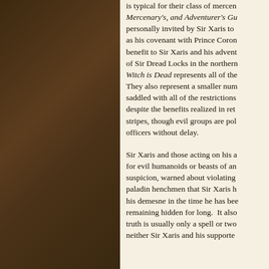is typical for their class of mercen Mercenary's, and Adventurer's Gu personally invited by Sir Xaris to as his covenant with Prince Coron benefit to Sir Xaris and his advent of Sir Dread Locks in the northern Witch is Dead represents all of the They also represent a smaller num saddled with all of the restrictions despite the benefits realized in ret stripes, though evil groups are pol officers without delay.
Sir Xaris and those acting on his a for evil humanoids or beasts of an suspicion, warned about violating paladin henchmen that Sir Xaris h his demesne in the time he has bee remaining hidden for long. It also truth is usually only a spell or two neither Sir Xaris and his supporte